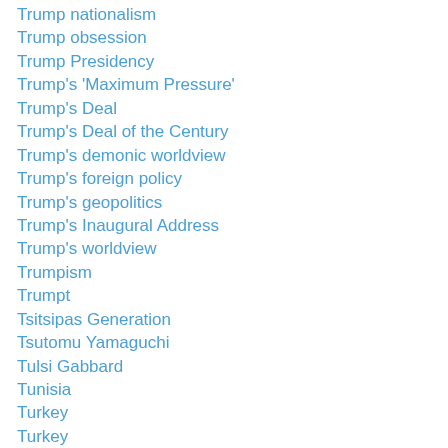Trump nationalism
Trump obsession
Trump Presidency
Trump's 'Maximum Pressure'
Trump's Deal
Trump's Deal of the Century
Trump's demonic worldview
Trump's foreign policy
Trump's geopolitics
Trump's Inaugural Address
Trump's worldview
Trumpism
Trumpt
Tsitsipas Generation
Tsutomu Yamaguchi
Tulsi Gabbard
Tunisia
Turkey
Turkey
Turkey-Yemen